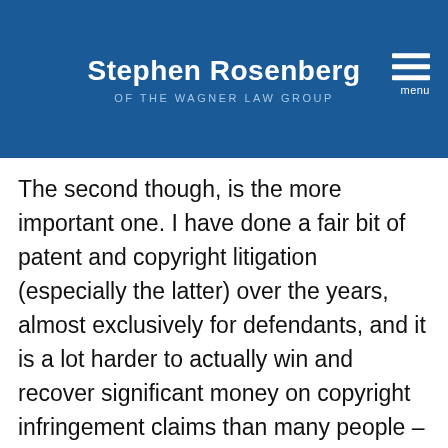Stephen Rosenberg OF THE WAGNER LAW GROUP
The second though, is the more important one. I have done a fair bit of patent and copyright litigation (especially the latter) over the years, almost exclusively for defendants, and it is a lot harder to actually win and recover significant money on copyright infringement claims than many people – including most lawyers – believe. The headline stories of massive awards in patent infringement cases lead people to extrapolate across the board to other types of intellectual property cases, but those cases don't actually extrapolate well. The various defenses available to defense counsel in copyright infringement